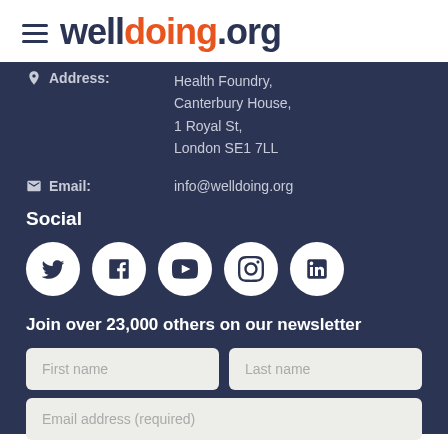welldoing.org
Address: Health Foundry, Canterbury House, 1 Royal St, London SE1 7LL
Email: info@welldoing.org
Social
[Figure (infographic): Five social media icon circles: Twitter, Facebook, YouTube, Instagram, LinkedIn]
Join over 23,000 others on our newsletter
First name input field
Last name input field
Email address (required) input field